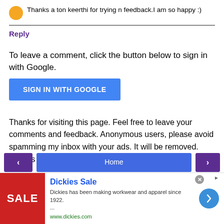Thanks a ton keerthi for trying n feedback.I am so happy :)
Reply
To leave a comment, click the button below to sign in with Google.
[Figure (other): Blue SIGN IN WITH GOOGLE button]
Thanks for visiting this page. Feel free to leave your comments and feedback. Anonymous users, please avoid spamming my inbox with your ads. It will be removed. Thanks for understanding.
[Figure (other): Navigation bar with left arrow, Home button, and right arrow]
[Figure (other): Dickies Sale advertisement banner with red SALE image, ad text, and arrow button]